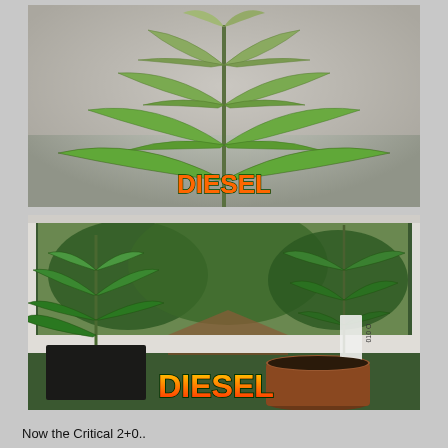[Figure (photo): Close-up photo of a cannabis seedling (Diesel strain) with serrated leaves on a light grey/pink blurred background, with the word DIESEL overlaid in orange-green graffiti-style text at the bottom center.]
[Figure (photo): Photo of two cannabis plants (Diesel strain) in pots on a windowsill with natural green outdoor foliage visible through the window. A plant label is visible in one pot. The word DIESEL is overlaid in orange-green graffiti-style text at the bottom center.]
Now the Critical 2+0..